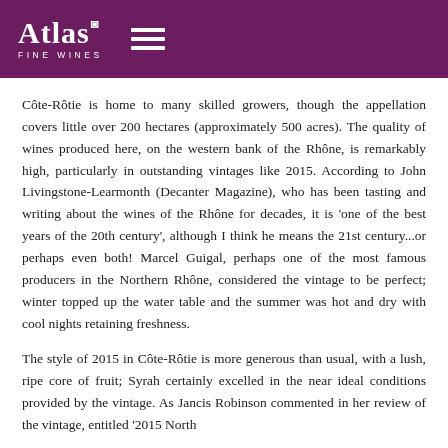Atlas Fine Wines
Côte-Rôtie is home to many skilled growers, though the appellation covers little over 200 hectares (approximately 500 acres). The quality of wines produced here, on the western bank of the Rhône, is remarkably high, particularly in outstanding vintages like 2015. According to John Livingstone-Learmonth (Decanter Magazine), who has been tasting and writing about the wines of the Rhône for decades, it is 'one of the best years of the 20th century', although I think he means the 21st century...or perhaps even both! Marcel Guigal, perhaps one of the most famous producers in the Northern Rhône, considered the vintage to be perfect; winter topped up the water table and the summer was hot and dry with cool nights retaining freshness.
The style of 2015 in Côte-Rôtie is more generous than usual, with a lush, ripe core of fruit; Syrah certainly excelled in the near ideal conditions provided by the vintage. As Jancis Robinson commented in her review of the vintage, entitled '2015 North